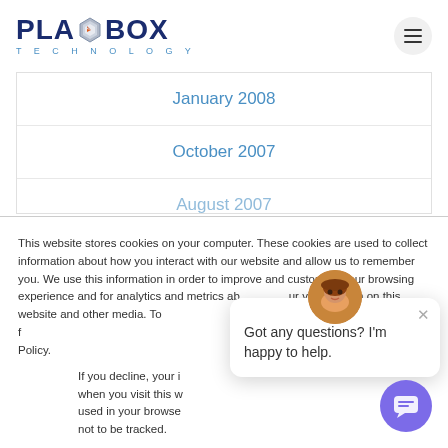[Figure (logo): PlayBox Technology logo with hexagonal icon and blue text]
January 2008
October 2007
August 2007
This website stores cookies on your computer. These cookies are used to collect information about how you interact with our website and allow us to remember you. We use this information in order to improve and customize your browsing experience and for analytics and metrics about our visitors both on this website and other media. To find out more about the cookies we use, see our Privacy Policy.
If you decline, your information won't be tracked when you visit this website. A single cookie will be used in your browser to remember your preference not to be tracked.
[Figure (photo): Chat assistant avatar - woman with auburn hair]
Got any questions? I'm happy to help.
[Figure (illustration): Purple chat bubble button icon]